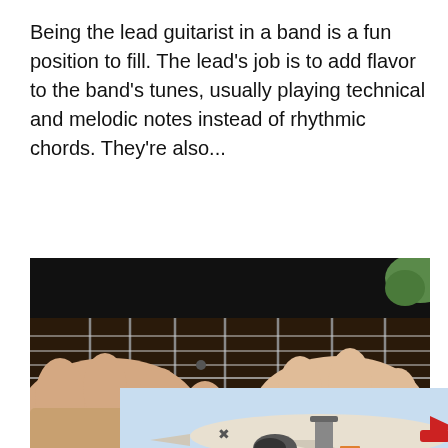Being the lead guitarist in a band is a fun position to fill. The lead's job is to add flavor to the band's tunes, usually playing technical and melodic notes instead of rhythmic chords. They're also...
Continue Reading
[Figure (photo): Close-up photo of hands playing an electric guitar, showing fingers pressing on the fretboard]
[Figure (photo): Advertisement image showing an airplane being loaded with cargo at an airport, with text overlay reading 'WITHOUT REGARD TO POLITICS, RELIGION OR ABILITY TO PAY']